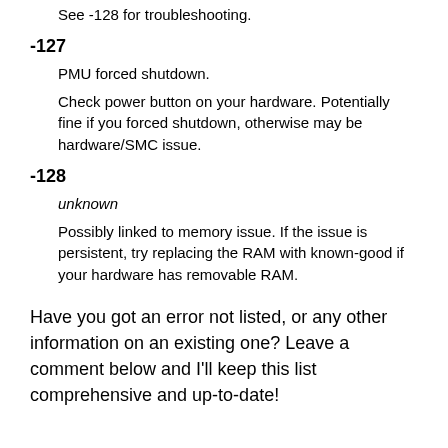See -128 for troubleshooting.
-127
PMU forced shutdown.
Check power button on your hardware. Potentially fine if you forced shutdown, otherwise may be hardware/SMC issue.
-128
unknown
Possibly linked to memory issue. If the issue is persistent, try replacing the RAM with known-good if your hardware has removable RAM.
Have you got an error not listed, or any other information on an existing one? Leave a comment below and I'll keep this list comprehensive and up-to-date!